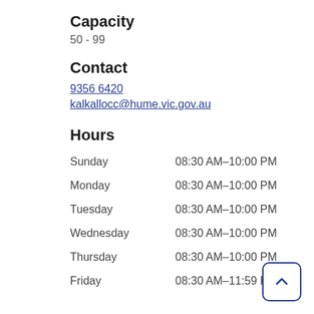Capacity
50 - 99
Contact
9356 6420
kalkallocc@hume.vic.gov.au
Hours
| Day | Hours |
| --- | --- |
| Sunday | 08:30 AM–10:00 PM |
| Monday | 08:30 AM–10:00 PM |
| Tuesday | 08:30 AM–10:00 PM |
| Wednesday | 08:30 AM–10:00 PM |
| Thursday | 08:30 AM–10:00 PM |
| Friday | 08:30 AM–11:59 PM |